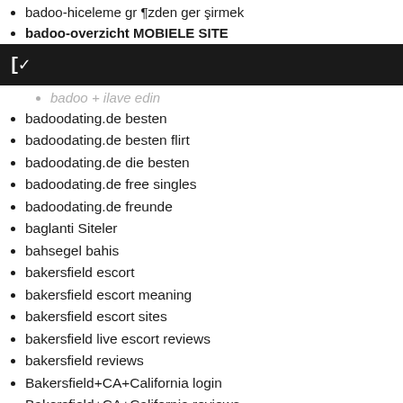badoo-hiceleme gr ¶zden ger şirmek
badoo-overzicht MOBIELE SITE
badoodating.de besten
badoodating.de besten flirt
badoodating.de die besten
badoodating.de free singles
badoodating.de freunde
baglanti Siteler
bahsegel bahis
bakersfield escort
bakersfield escort meaning
bakersfield escort sites
bakersfield live escort reviews
bakersfield reviews
Bakersfield+CA+California login
Bakersfield+CA+California reviews
bali-dating search
Ballarat+Australia hookup sites
Ballarat+Australia Related Site
Ballarat+Australia review
Ballarat+Australia reviews
baltimore escort
baltimore escort directory
baltimore escort reviews (partial)